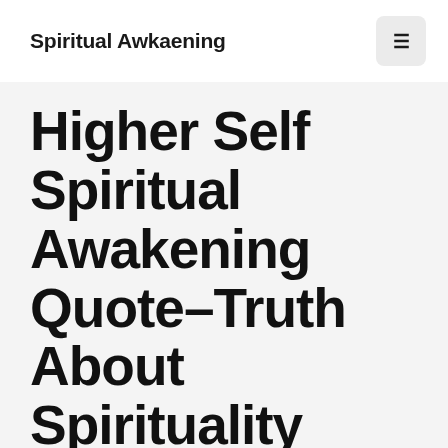Spiritual Awkaening
Higher Self Spiritual Awakening Quote–Truth About Spirituality
Are you on the path To